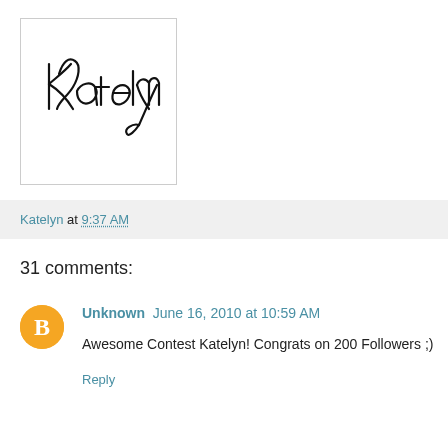[Figure (illustration): Handwritten cursive signature reading 'Katelyn' in a white box with thin border]
Katelyn at 9:37 AM
31 comments:
Unknown  June 16, 2010 at 10:59 AM
Awesome Contest Katelyn! Congrats on 200 Followers ;)
Reply